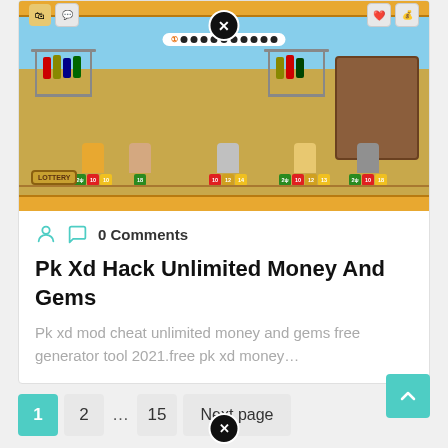[Figure (screenshot): Screenshot of a mobile game showing cartoon cat characters in a shop with colorful stat blocks, a lottery badge, clothing racks, and a close button overlay.]
0 Comments
Pk Xd Hack Unlimited Money And Gems
Pk xd mod cheat unlimited money and gems free generator tool 2021.free pk xd money…
1
2
...
15
Next page